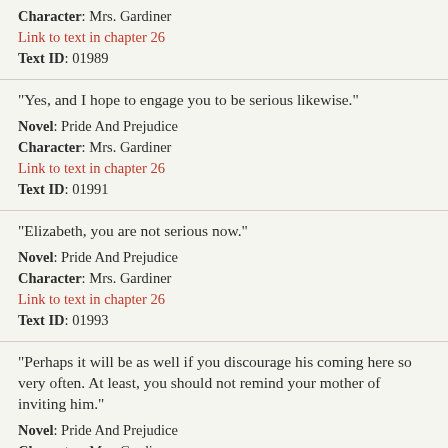Character: Mrs. Gardiner
Link to text in chapter 26
Text ID: 01989
“Yes, and I hope to engage you to be serious likewise.”
Novel: Pride And Prejudice
Character: Mrs. Gardiner
Link to text in chapter 26
Text ID: 01991
“Elizabeth, you are not serious now.”
Novel: Pride And Prejudice
Character: Mrs. Gardiner
Link to text in chapter 26
Text ID: 01993
“Perhaps it will be as well if you discourage his coming here so very often. At least, you should not remind your mother of inviting him.”
Novel: Pride And Prejudice
Character: Mrs. Gardiner